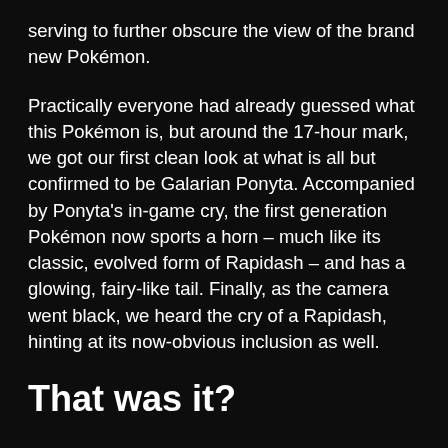serving to further obscure the view of the brand new Pokémon.
Practically everyone had already guessed what this Pokémon is, but around the 17-hour mark, we got our first clean look at what is all but confirmed to be Galarian Ponyta. Accompanied by Ponyta's in-game cry, the first generation Pokémon now sports a horn – much like its classic, evolved form of Rapidash – and has a glowing, fairy-like tail. Finally, as the camera went black, we heard the cry of a Rapidash, hinting at its now-obvious inclusion as well.
That was it?